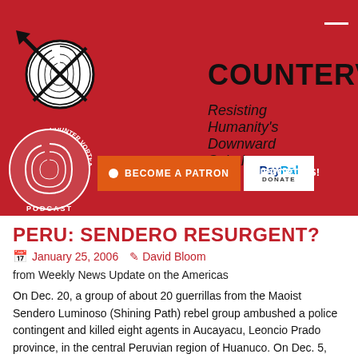COUNTERVORTEX — Resisting Humanity's Downward Spiral
PERU: SENDERO RESURGENT?
January 25, 2006  David Bloom
from Weekly News Update on the Americas
On Dec. 20, a group of about 20 guerrillas from the Maoist Sendero Luminoso (Shining Path) rebel group ambushed a police contingent and killed eight agents in Aucayacu, Leoncio Prado province, in the central Peruvian region of Huanuco. On Dec. 5, alleged Sendero rebels ambushed two police vehicles farther south in the Apurimac river valley, killing five police agents and wounding a police agent and a prosecutor.
President Alejandro Toledo responded to the attacks on Dec. 21 by